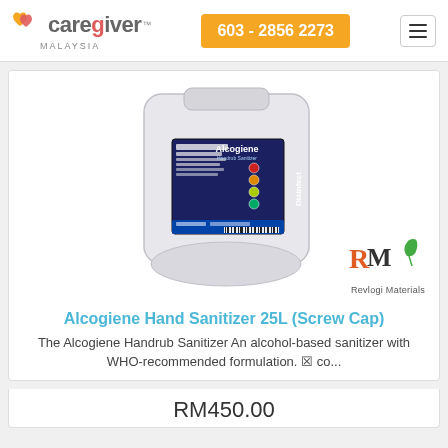Caregiver Malaysia | 603 - 2856 2273
[Figure (photo): Large white 25-litre jerry can / container with an Alcogiene Disinfect label on the front. The Revlogi Materials logo (RM with a green leaf) is shown in the bottom-right corner of the image area.]
Alcogiene Hand Sanitizer 25L (Screw Cap)
The Alcogiene Handrub Sanitizer An alcohol-based sanitizer with WHO-recommended formulation. ☒ co...
RM450.00